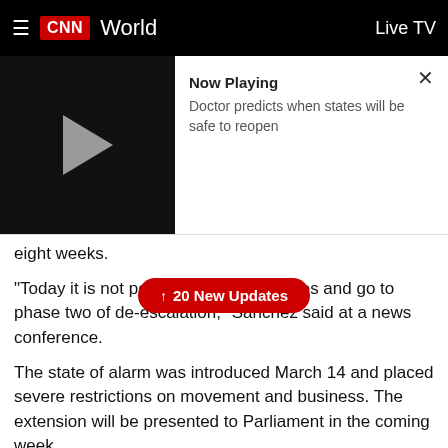CNN World | Live TV
[Figure (screenshot): Video player card showing Now Playing: Doctor predicts when states will be safe to reopen]
eight weeks.
"Today it is not possible to lift the containment measures and go to phase two of de-escalation," Sanchez said at a news conference.
The state of alarm was introduced March 14 and placed severe restrictions on movement and business. The extension will be presented to Parliament in the coming week.
However, Sanchez said with the advice of experts, the government will lift the confinement of children as of